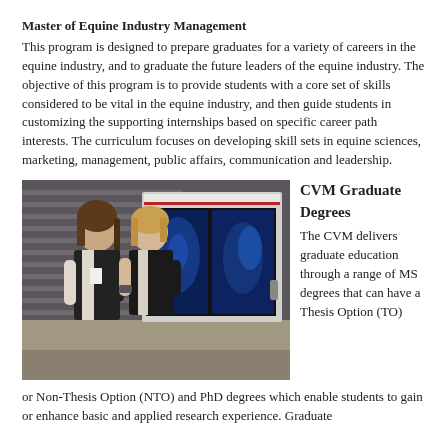Master of Equine Industry Management
This program is designed to prepare graduates for a variety of careers in the equine industry, and to graduate the future leaders of the equine industry. The objective of this program is to provide students with a core set of skills considered to be vital in the equine industry, and then guide students in customizing the supporting internships based on specific career path interests. The curriculum focuses on developing skill sets in equine sciences, marketing, management, public affairs, communication and leadership.
[Figure (photo): Two female students in black vests looking at veterinary X-ray images on a lightbox mounted on a wall]
CVM Graduate Degrees The CVM delivers graduate education through a range of MS degrees that can have a Thesis Option (TO) or Non-Thesis Option (NTO) and PhD degrees which enable students to gain or enhance basic and applied research experience. Graduate